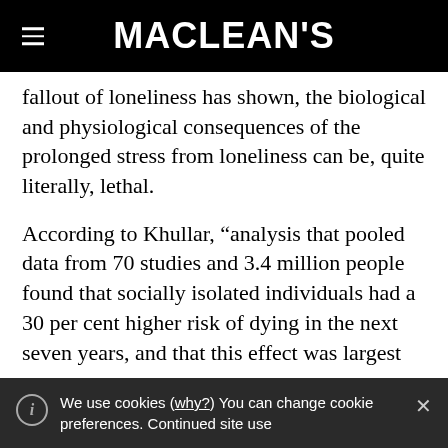MACLEAN'S
fallout of loneliness has shown, the biological and physiological consequences of the prolonged stress from loneliness can be, quite literally, lethal.
According to Khullar, “analysis that pooled data from 70 studies and 3.4 million people found that socially isolated individuals had a 30 per cent higher risk of dying in the next seven years, and that this effect was largest
We use cookies (why?) You can change cookie preferences. Continued site use